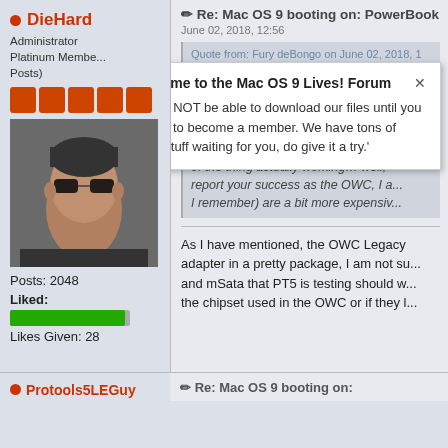DieHard
Administrator
Platinum Member
Posts)
[Figure (photo): Avatar photo of a man wearing sunglasses]
Posts: 2048
Liked:
Likes Given: 28
Re: Mac OS 9 booting on: PowerBook G4 17" Aluminum S
June 02, 2018, 12:56
Quote from: Fury deBongo on June 02, 2018, 1
Ninester and I were just checking th... considering same for a Mac mini. At https://www.youtube.com/watch?v=1 report in the comments, coupled wit... of the thing actually working… well, report your success as the OWC, I a... I remember) are a bit more expensiv...
As I have mentioned, the OWC Legacy adapter in a pretty package, I am not s... and mSata that PT5 is testing should w... the chipset used in the OWC or if they l...
[Figure (screenshot): Tooltip overlay: Welcome to the Mac OS 9 Lives! Forum. You will NOT be able to download our files until you register to become a member. We have tons of FREE stuff waiting for you, do give it a try.]
Protools5LEGuy
Re: Mac OS 9 booting on: